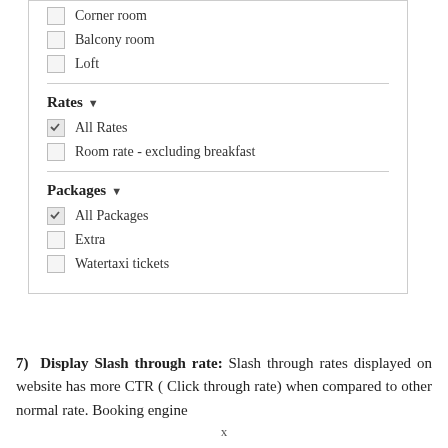Corner room
Balcony room
Loft
Rates
All Rates (checked)
Room rate - excluding breakfast
Packages
All Packages (checked)
Extra
Watertaxi tickets
7) Display Slash through rate: Slash through rates displayed on website has more CTR ( Click through rate) when compared to other normal rate. Booking engine